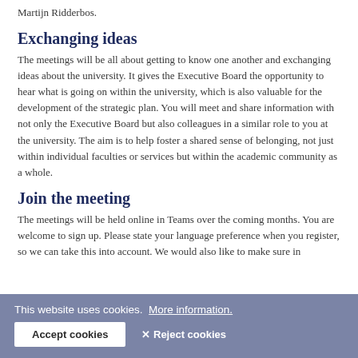Martijn Ridderbos.
Exchanging ideas
The meetings will be all about getting to know one another and exchanging ideas about the university. It gives the Executive Board the opportunity to hear what is going on within the university, which is also valuable for the development of the strategic plan. You will meet and share information with not only the Executive Board but also colleagues in a similar role to you at the university. The aim is to help foster a shared sense of belonging, not just within individual faculties or services but within the academic community as a whole.
Join the meeting
The meetings will be held online in Teams over the coming months. You are welcome to sign up. Please state your language preference when you register, so we can take this into account. We would also like to make sure in
This website uses cookies.  More information.
Accept cookies   ✕ Reject cookies